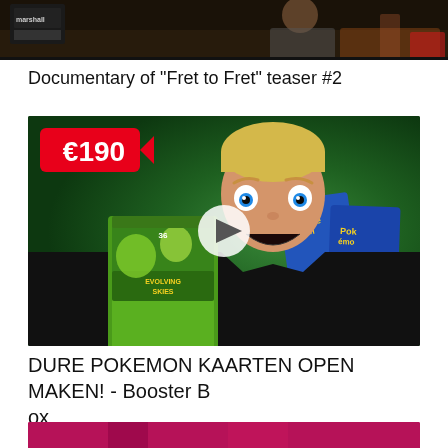[Figure (screenshot): Top portion of a video thumbnail showing a room with what appears to be guitar amplifiers and a person, dark tones]
Documentary of "Fret to Fret" teaser #2
[Figure (screenshot): YouTube video thumbnail showing a young blonde man with wide eyes holding a Pokemon Evolving Skies booster box, with a €190 price tag, Pokemon cards visible on the right, play button overlay in center, green background]
DURE POKEMON KAARTEN OPEN MAKEN! - Booster Box
[Figure (screenshot): Partial view of a third video thumbnail with pink/red background, partially cropped at bottom of page]